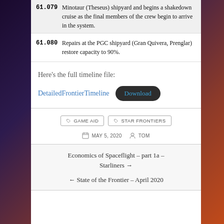| # | Event |
| --- | --- |
| 61.079 | Minotaur (Theseus) shipyard and begins a shakedown cruise as the final members of the crew begin to arrive in the system. |
| 61.080 | Repairs at the PGC shipyard (Gran Quivera, Prenglar) restore capacity to 90%. |
Here’s the full timeline file:
DetailedFrontierTimeline  [Download]
GAME AID  STAR FRONTIERS
MAY 5, 2020  TOM
Economics of Spaceflight – part 1a – Starliners →
← State of the Frontier – April 2020